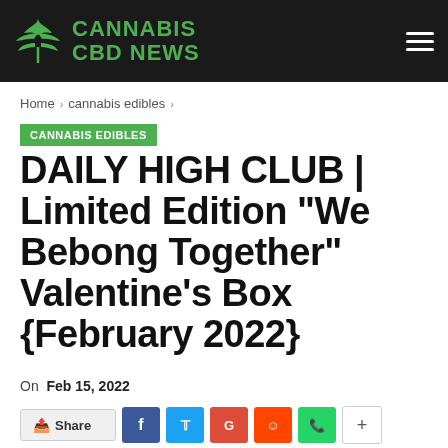CANNABIS CBD NEWS
Home › cannabis edibles ›
CANNABIS EDIBLES
DAILY HIGH CLUB | Limited Edition "We Bebong Together" Valentine's Box {February 2022}
On Feb 15, 2022
Share